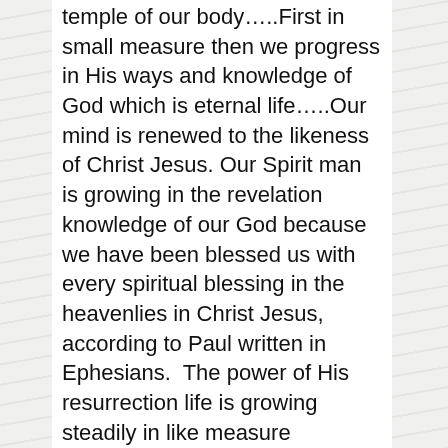temple of our body…..First in small measure then we progress in His ways and knowledge of God which is eternal life…..Our mind is renewed to the likeness of Christ Jesus. Our Spirit man is growing in the revelation knowledge of our God because we have been blessed us with every spiritual blessing in the heavenlies in Christ Jesus, according to Paul written in Ephesians.  The power of His resurrection life is growing steadily in like measure according to the truth we walk out from what we apprehend by His Spirit.
If you want to cross a chasm and the only way apparent to do that is a huge rope before